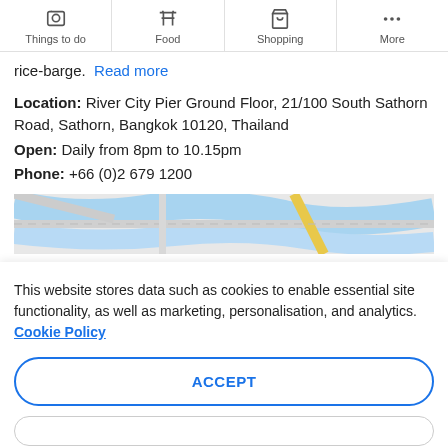Things to do | Food | Shopping | More
rice-barge.  Read more
Location: River City Pier Ground Floor, 21/100 South Sathorn Road, Sathorn, Bangkok 10120, Thailand
Open: Daily from 8pm to 10.15pm
Phone: +66 (0)2 679 1200
[Figure (map): Google Maps screenshot showing the area near River City Pier, Bangkok, with blue water/river and road overlays]
This website stores data such as cookies to enable essential site functionality, as well as marketing, personalisation, and analytics. Cookie Policy
ACCEPT